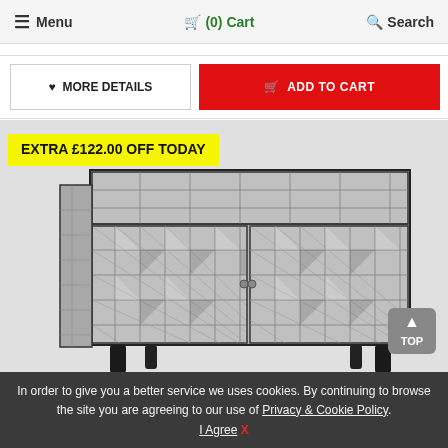≡ Menu   🛒 (0) Cart   🔍 Search
♥ MORE DETAILS   🛒 ADD TO CART
[Figure (photo): A geometric diamond-pattern mirrored/silver cabinet with cabriole black legs. An 'EXTRA £122.00 OFF TODAY' yellow banner overlays the top-left of the image. A grey 'TOP' back-to-top button is in the bottom-right corner.]
EXTRA £122.00 OFF TODAY
In order to give you a better service we uses cookies. By continuing to browse the site you are agreeing to our use of Privacy & Cookie Policy. I Agree X